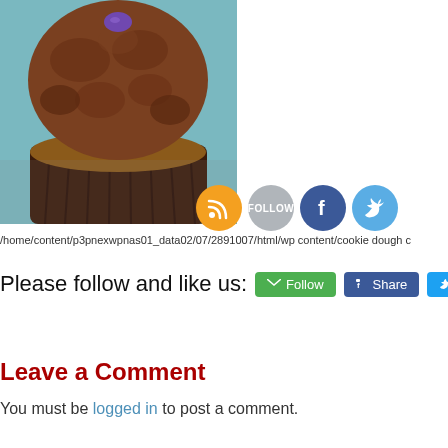[Figure (photo): Close-up photo of a chocolate cupcake with fluffy chocolate frosting topped with a purple M&M candy, in a dark paper liner, on a kitchen counter with a blue background]
/home/content/p3pnexwpnas01_data02/07/2891007/html/wp content/cookie dough c
Please follow and like us:
Permalink
Leave a Comment
You must be logged in to post a comment.